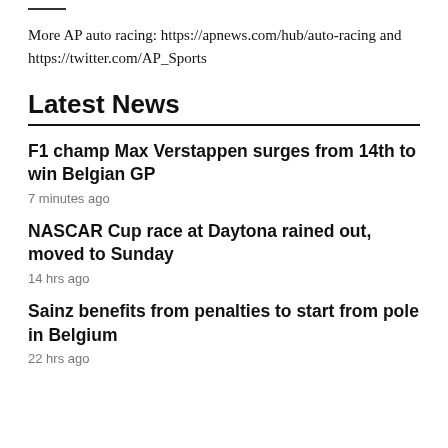More AP auto racing: https://apnews.com/hub/auto-racing and https://twitter.com/AP_Sports
Latest News
F1 champ Max Verstappen surges from 14th to win Belgian GP
7 minutes ago
NASCAR Cup race at Daytona rained out, moved to Sunday
14 hrs ago
Sainz benefits from penalties to start from pole in Belgium
22 hrs ago